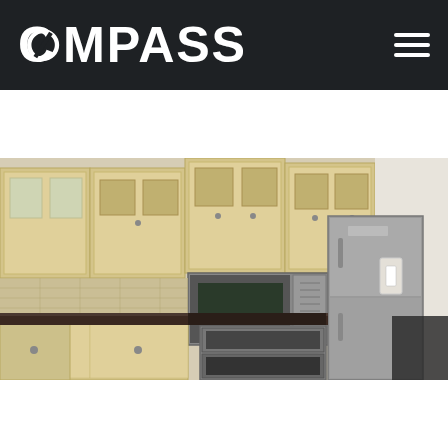COMPASS
< Search Listings   Share   Save
[Figure (photo): Kitchen interior with light wood cabinets, stainless steel appliances including microwave, refrigerator, and double oven, dark granite countertops, and tile backsplash.]
Contact